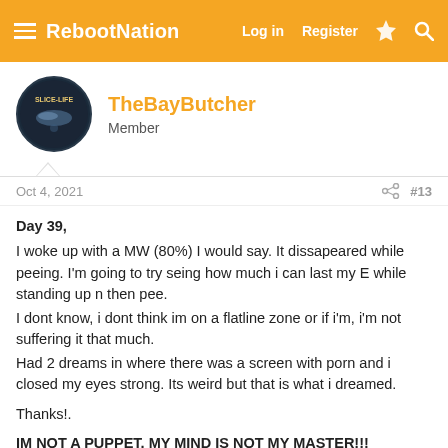RebootNation  Log in  Register
TheBayButcher
Member
Oct 4, 2021  #13
Day 39,
I woke up with a MW (80%) I would say. It dissapeared while peeing. I'm going to try seing how much i can last my E while standing up n then pee.
I dont know, i dont think im on a flatline zone or if i'm, i'm not suffering it that much.
Had 2 dreams in where there was a screen with porn and i closed my eyes strong. Its weird but that is what i dreamed.

Thanks!.

IM NOT A PUPPET, MY MIND IS NOT MY MASTER!!!